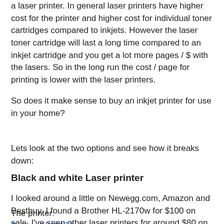a laser printer. In general laser printers have higher cost for the printer and higher cost for individual toner cartridges compared to inkjets. However the laser toner cartridge will last a long time compared to an inkjet cartridge and you get a lot more pages / $ with the lasers. So in the long run the cost / page for printing is lower with the laser printers.
So does it make sense to buy an inkjet printer for use in your home?
Lets look at the two options and see how it breaks down:
Black and white Laser printer
I looked around a little on Newegg.com, Amazon and Bestbuy. I found a Brother HL-2170w for $100 on sale. I've seen other laser printers for around $80 on sale but you just have to watch for a bargain to catch a deal. I'll look at the HL-2170w for an example.
The printer: